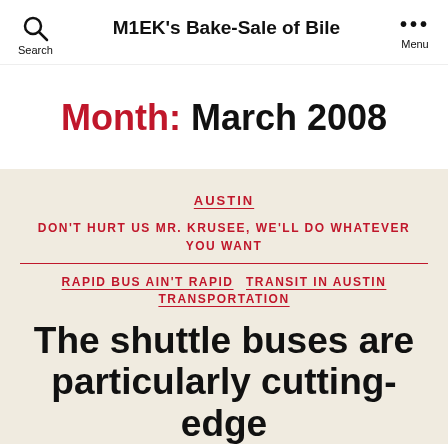M1EK's Bake-Sale of Bile
Month: March 2008
AUSTIN
DON'T HURT US MR. KRUSEE, WE'LL DO WHATEVER YOU WANT
RAPID BUS AIN'T RAPID  TRANSIT IN AUSTIN  TRANSPORTATION
The shuttle buses are particularly cutting-edge